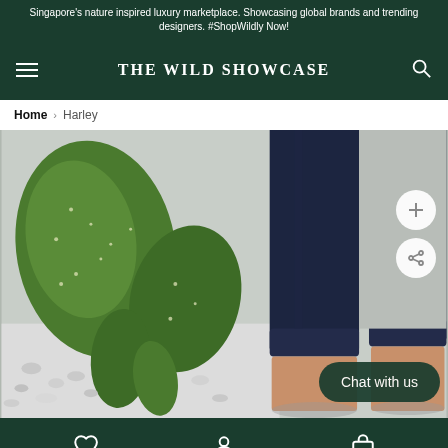Singapore's nature inspired luxury marketplace. Showcasing global brands and trending designers. #ShopWildly Now!
THE WILD SHOWCASE
Home > Harley
[Figure (photo): Close-up photo of a person's lower legs wearing dark navy rolled-up jeans and bare feet, standing near a large prickly pear cactus with white pebbles on the ground. Two white circular buttons with plus and share icons overlay the right side of the image. A dark green 'Chat with us' button appears at the bottom right.]
Bottom navigation bar with wishlist (heart), account (person), and cart (bag) icons